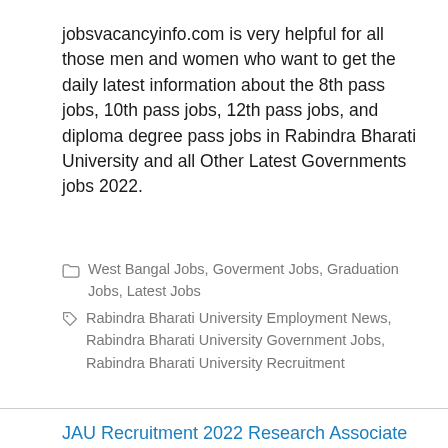jobsvacancyinfo.com is very helpful for all those men and women who want to get the daily latest information about the 8th pass jobs, 10th pass jobs, 12th pass jobs, and diploma degree pass jobs in Rabindra Bharati University and all Other Latest Governments jobs 2022.
West Bangal Jobs, Goverment Jobs, Graduation Jobs, Latest Jobs
Rabindra Bharati University Employment News, Rabindra Bharati University Government Jobs, Rabindra Bharati University Recruitment
JAU Recruitment 2022 Research Associate Posts